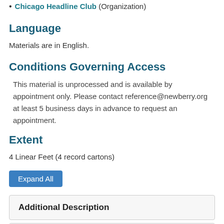Chicago Headline Club (Organization)
Language
Materials are in English.
Conditions Governing Access
This material is unprocessed and is available by appointment only. Please contact reference@newberry.org at least 5 business days in advance to request an appointment.
Extent
4 Linear Feet (4 record cartons)
Expand All
Additional Description
Subjects